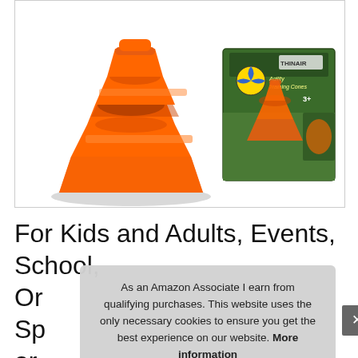[Figure (photo): Orange plastic training cones (sports/soccer cones with spiral cutouts) shown in front of their green product box labeled 'Agility Training Cones' with a soccer ball graphic, age rating 3+, and the THINAIR brand logo.]
For Kids and Adults, Events, School, Or Sp or
As an Amazon Associate I earn from qualifying purchases. This website uses the only necessary cookies to ensure you get the best experience on our website. More information